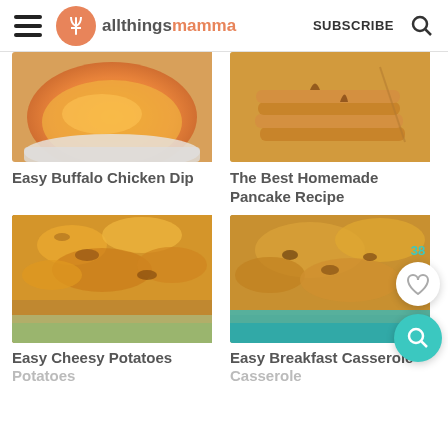allthingsmamma — SUBSCRIBE
[Figure (photo): Easy Buffalo Chicken Dip — orange cheesy dip in a white dish]
Easy Buffalo Chicken Dip
[Figure (photo): The Best Homemade Pancake Recipe — stack of pancakes with syrup]
The Best Homemade Pancake Recipe
[Figure (photo): Easy Cheesy Potatoes — casserole with golden crispy breadcrumb topping]
Easy Cheesy Potatoes
[Figure (photo): Easy Breakfast Casserole — cheesy baked casserole in teal dish]
Easy Breakfast Casserole